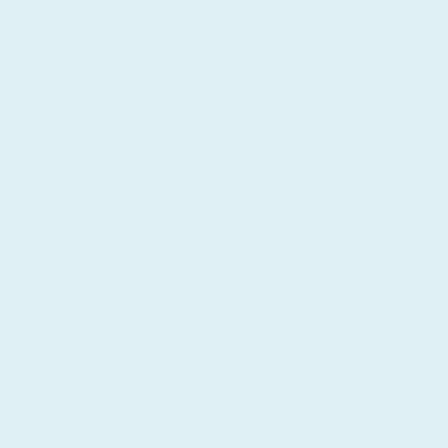[Figure (illustration): Cropped avatar of a cartoon character with wide teeth grin]
Internalized generaliz…
[Figure (illustration): Avatar of ObiKemnebi, a cartoon character with blonde hair and glasses]
ObiKemnebi
May 21, 2016 at 12:55 p…
Okay, so here's the m… conservative christian… it, even if they "gave"… it but it's at your paren… it's in your parents' ho… it's theirs. If the comm… not yours.
If the neighbors supp… for his incarceration, t… for taking what they s… has the "right" to deny… local police agree with… locked up in the coun… though it's her legal re… you can bet he doesn… anywhere, the local p… the exact legality of a… police think it should n…
[Figure (illustration): Avatar of Cerberus, a cartoon character with dark hair]
Cerberus
May 21, 2016 at 1:5…